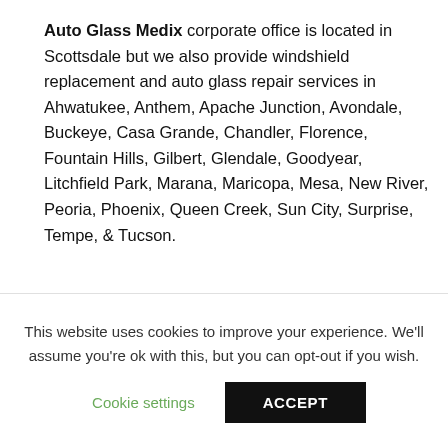Auto Glass Medix corporate office is located in Scottsdale but we also provide windshield replacement and auto glass repair services in Ahwatukee, Anthem, Apache Junction, Avondale, Buckeye, Casa Grande, Chandler, Florence, Fountain Hills, Gilbert, Glendale, Goodyear, Litchfield Park, Marana, Maricopa, Mesa, New River, Peoria, Phoenix, Queen Creek, Sun City, Surprise, Tempe, & Tucson.
At Auto Glass Medix we absolutely love what we
This website uses cookies to improve your experience. We'll assume you're ok with this, but you can opt-out if you wish.
Cookie settings
ACCEPT